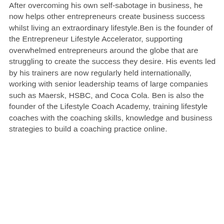After overcoming his own self-sabotage in business, he now helps other entrepreneurs create business success whilst living an extraordinary lifestyle.Ben is the founder of the Entrepreneur Lifestyle Accelerator, supporting overwhelmed entrepreneurs around the globe that are struggling to create the success they desire. His events led by his trainers are now regularly held internationally, working with senior leadership teams of large companies such as Maersk, HSBC, and Coca Cola. Ben is also the founder of the Lifestyle Coach Academy, training lifestyle coaches with the coaching skills, knowledge and business strategies to build a coaching practice online.